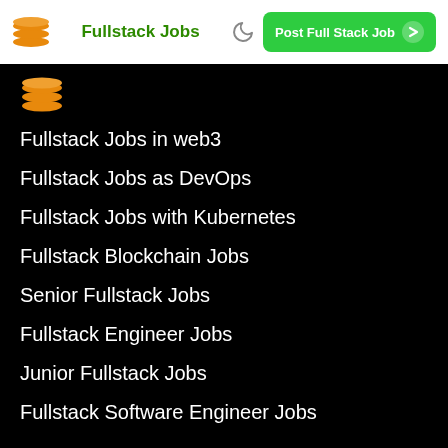Fullstack Jobs
[Figure (logo): Orange stacked layers logo icon in dark content area]
Fullstack Jobs in web3
Fullstack Jobs as DevOps
Fullstack Jobs with Kubernetes
Fullstack Blockchain Jobs
Senior Fullstack Jobs
Fullstack Engineer Jobs
Junior Fullstack Jobs
Fullstack Software Engineer Jobs